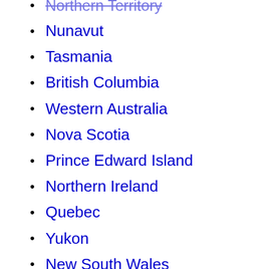Northern Territory
Nunavut
Tasmania
British Columbia
Western Australia
Nova Scotia
Prince Edward Island
Northern Ireland
Quebec
Yukon
New South Wales
Newfoundland and Labrador